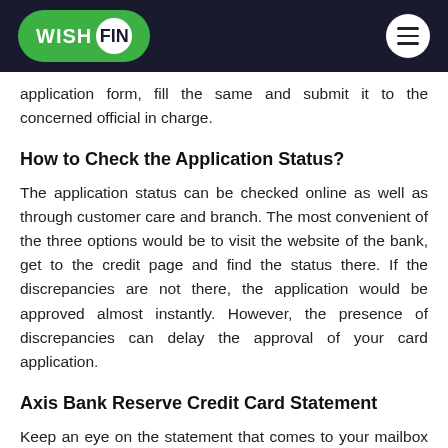WISH FIN
application form, fill the same and submit it to the concerned official in charge.
How to Check the Application Status?
The application status can be checked online as well as through customer care and branch. The most convenient of the three options would be to visit the website of the bank, get to the credit page and find the status there. If the discrepancies are not there, the application would be approved almost instantly. However, the presence of discrepancies can delay the approval of your card application.
Axis Bank Reserve Credit Card Statement
Keep an eye on the statement that comes to your mailbox each month, showing total dues, minimum due, due date, besides giving every single detail of the transactions made in a particular billing cycle. The